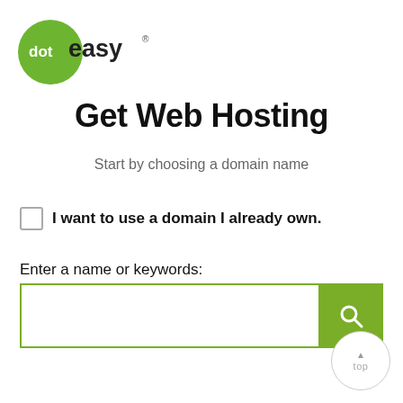[Figure (logo): doteasy logo: green circle with 'dot' in white text and 'easy' in dark text with registered trademark symbol]
Get Web Hosting
Start by choosing a domain name
I want to use a domain I already own.
Enter a name or keywords:
[Figure (screenshot): Search input box with green border and green search button with magnifying glass icon]
[Figure (other): Back to top button: circular button with upward arrow and 'top' text]